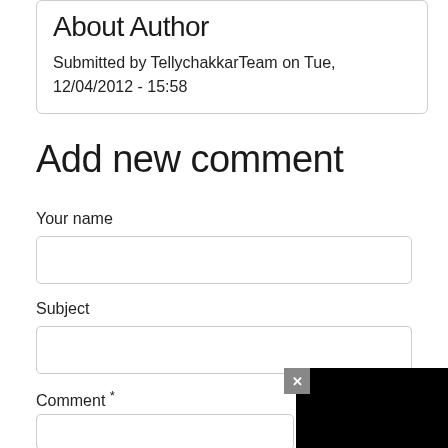About Author
Submitted by TellychakkarTeam on Tue, 12/04/2012 - 15:58
Add new comment
Your name
Subject
Comment *
[Figure (screenshot): Black video player overlay panel with a red play arrow and a white circular loading spinner, with a grey close (x) button in the upper-left corner of the panel.]